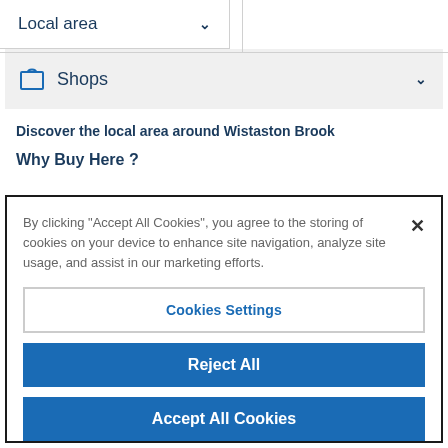Local area ∨
Shops ∨
Discover the local area around Wistaston Brook
Why Buy Here ?
By clicking "Accept All Cookies", you agree to the storing of cookies on your device to enhance site navigation, analyze site usage, and assist in our marketing efforts.
Cookies Settings
Reject All
Accept All Cookies